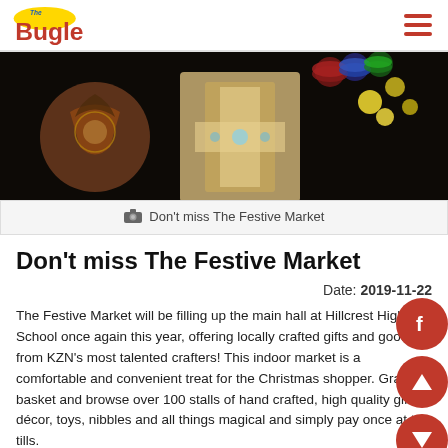The Bugle
[Figure (photo): Craft items including decorative wooden pendants and colorful ornaments on a dark background]
Don't miss The Festive Market
Don't miss The Festive Market
Date: 2019-11-22
The Festive Market will be filling up the main hall at Hillcrest High School once again this year, offering locally crafted gifts and goodies from KZN's most talented crafters! This indoor market is a comfortable and convenient treat for the Christmas shopper. Grab a basket and browse over 100 stalls of hand crafted, high quality gifts, décor, toys, nibbles and all things magical and simply pay once at the tills.
"Our aim is to create a platform for local crafters from acro KZN to showcase their talents in one comfortable and easily